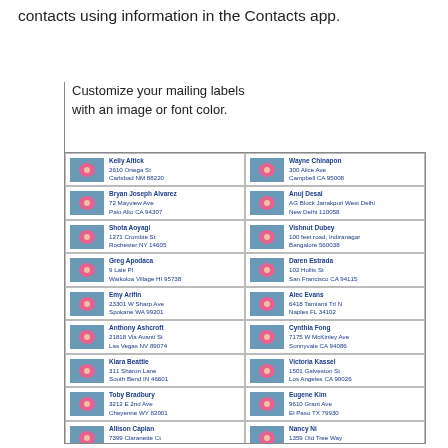contacts using information in the Contacts app.
Customize your mailing labels
with an image or font color.
[Figure (screenshot): A mailing label sheet showing two columns of address labels, each with a small flower photo thumbnail and contact address information in blue text.]